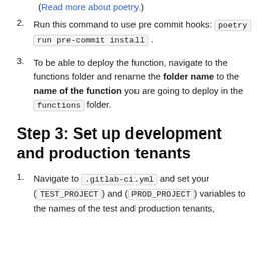(Read more about poetry.)
2. Run this command to use pre commit hooks: poetry run pre-commit install .
3. To be able to deploy the function, navigate to the functions folder and rename the folder name to the name of the function you are going to deploy in the functions folder.
Step 3: Set up development and production tenants
1. Navigate to .gitlab-ci.yml and set your (TEST_PROJECT) and (PROD_PROJECT) variables to the names of the test and production tenants,